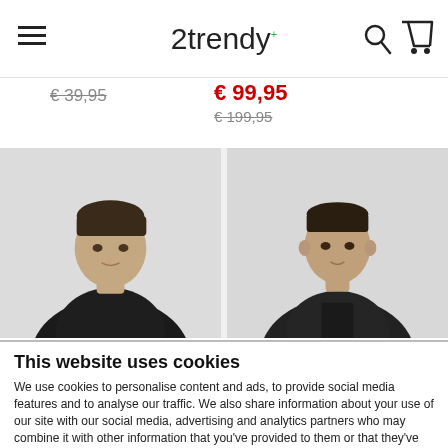2trendy — navigation header with hamburger menu, logo, search and cart icons
€ 39,95
€ 99,95
€ 199,95
[Figure (photo): Two product photos side by side: left shows a young man in a dark jacket against a light grey background; right shows another young man in a dark jacket against a light grey background.]
This website uses cookies
We use cookies to personalise content and ads, to provide social media features and to analyse our traffic. We also share information about your use of our site with our social media, advertising and analytics partners who may combine it with other information that you've provided to them or that they've collected from your use of their services.
Allow selection | Allow all cookies
Necessary  Preferences  Statistics  Marketing  Show details